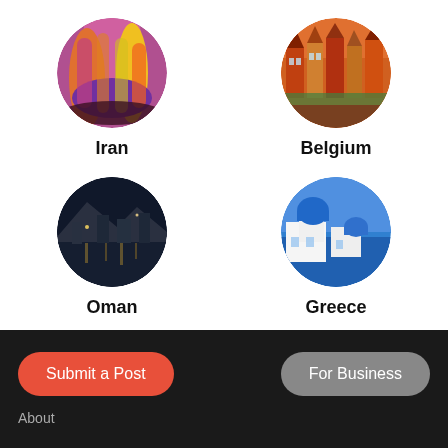[Figure (photo): Circular photo of Iran — colorful arched interior with pink and yellow light]
Iran
[Figure (photo): Circular photo of Belgium — aerial view of colorful European buildings]
Belgium
[Figure (photo): Circular photo of Oman — nighttime harbor with lights reflecting on water]
Oman
[Figure (photo): Circular photo of Greece — Santorini blue dome church and sea]
Greece
Submit a Post
For Business
About